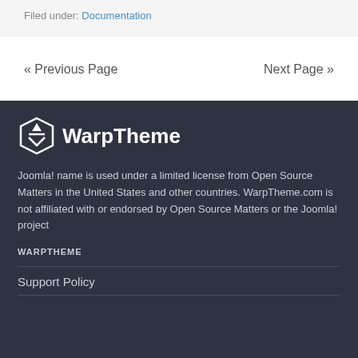Filed under: Documentation
« Previous Page
Next Page »
[Figure (logo): WarpTheme logo with stylized shield/arrow icon and text 'WarpTheme']
Joomla! name is used under a limited license from Open Source Matters in the United States and other countries. WarpTheme.com is not affiliated with or endorsed by Open Source Matters or the Joomla! project
WARPTHEME
Support Policy